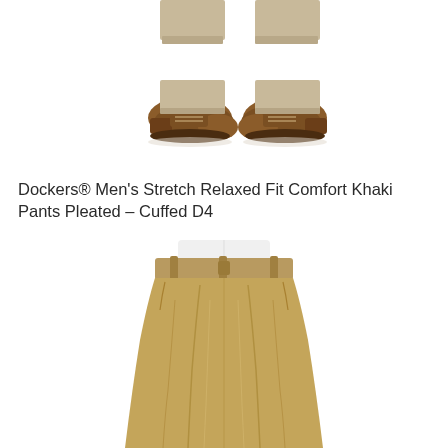[Figure (photo): Close-up of a man's feet and lower legs wearing khaki pants cuffed at the bottom and brown leather lace-up shoes, on white background]
Dockers® Men's Stretch Relaxed Fit Comfort Khaki Pants Pleated – Cuffed D4
[Figure (photo): Product photo of Dockers Men's Stretch Relaxed Fit Comfort Khaki Pants in khaki/tan color, showing the front of the pleated, cuffed trousers from waist to below the knee, on a white background]